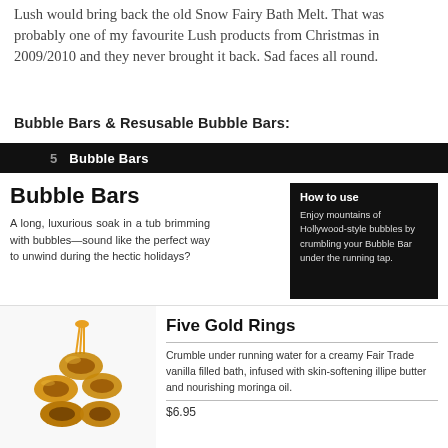Lush would bring back the old Snow Fairy Bath Melt. That was probably one of my favourite Lush products from Christmas in 2009/2010 and they never brought it back. Sad faces all round.
Bubble Bars & Resusable Bubble Bars:
Bubble Bars
A long, luxurious soak in a tub brimming with bubbles—sound like the perfect way to unwind during the hectic holidays?
How to use
Enjoy mountains of Hollywood-style bubbles by crumbling your Bubble Bar under the running tap.
[Figure (photo): Five golden donut-shaped bubble bars clustered together with an orange ribbon/tassel]
Five Gold Rings
Crumble under running water for a creamy Fair Trade vanilla filled bath, infused with skin-softening illipe butter and nourishing moringa oil.
$6.95
[Figure (photo): Pink and red triangular Santa-shaped bubble bar with a peeking Santa face]
Peeping Santa
Santa shaped bubble bar sandwiched together with cocoa butter and shea butter